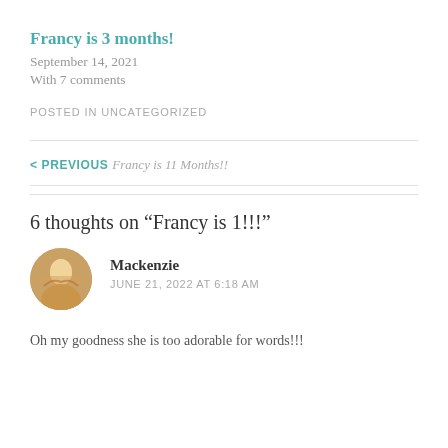Francy is 3 months!
September 14, 2021
With 7 comments
POSTED IN UNCATEGORIZED
< PREVIOUS
Francy is 11 Months!!
6 thoughts on “Francy is 1!!!”
Mackenzie
JUNE 21, 2022 AT 6:18 AM
Oh my goodness she is too adorable for words!!!